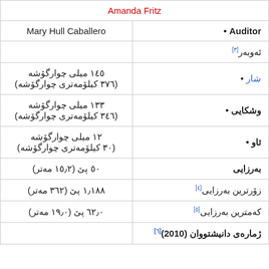| Amanda Fritz |  |
| Mary Hull Caballero | Auditor • |
|  | ئەوبەر [٣] |
| ١٤٥ میلی چوارگۆشە
(٣٧٦ کیلۆمەتری چوارگۆشە) | • شار |
| ١٣٣ میلی چوارگۆشە
(٣٤٦ کیلۆمەتری چوارگۆشە) | • وشکایی |
| ١٢ میلی چوارگۆشە
(٣٠ کیلۆمەتری چوارگۆشە) | • ئاو |
| ٥٠ پێ (١٥٫٢ مەتر) | بەرزایی |
| ١٫١٨٨ پێ (٣٦٢ مەتر) | زۆرترین بەرزایی [٤] |
| ٦٢٫٠ پێ (١٩٫٠ مەتر) | کەمترین بەرزایی [٥] |
|  | ژمارەی دانیشتووان (2010)[٦] |